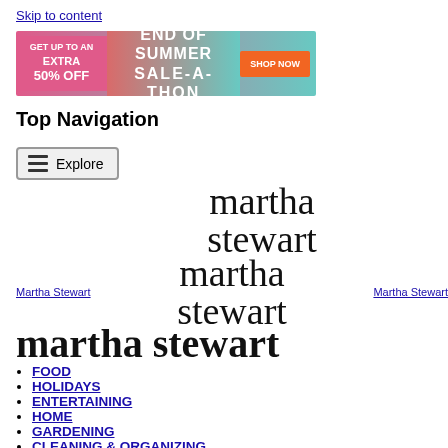Skip to content
[Figure (infographic): End of Summer Sale-A-Thon banner: Get up to an extra 50% off. Shop Now button.]
Top Navigation
[Figure (infographic): Explore button with hamburger menu icon]
[Figure (logo): Martha Stewart logo in large serif text with Martha Stewart links on either side]
FOOD
HOLIDAYS
ENTERTAINING
HOME
GARDENING
CLEANING & ORGANIZING
WEDDINGS
SHOP